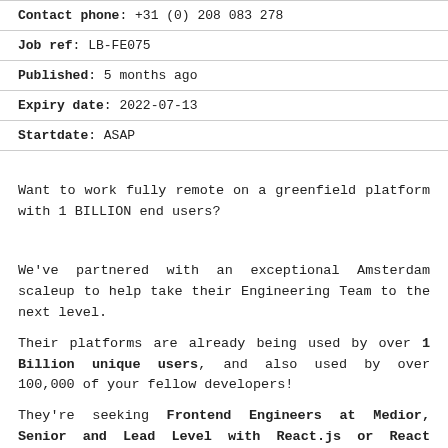| Contact phone: +31 (0) 208 083 278 |
| Job ref: LB-FE075 |
| Published: 5 months ago |
| Expiry date: 2022-07-13 |
| Startdate: ASAP |
Want to work fully remote on a greenfield platform with 1 BILLION end users?
We've partnered with an exceptional Amsterdam scaleup to help take their Engineering Team to the next level.
Their platforms are already being used by over 1 Billion unique users, and also used by over 100,000 of your fellow developers!
They're seeking Frontend Engineers at Medior, Senior and Lead Level with React.js or React Native experience to work on their platform seeing rapid-growth, building new features in a greenfield